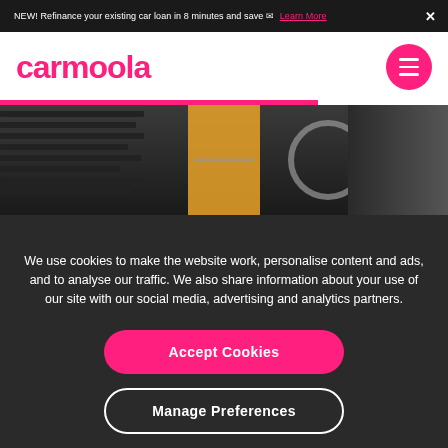NEW! Refinance your existing car loan in 8 minutes and save ✉ Learn More
[Figure (logo): Carmoola logo in pink with hamburger menu button]
[Figure (photo): Dark car interior with steering wheel and orange panel accents]
We use cookies to make the website work, personalise content and ads, and to analyse our traffic. We also share information about your use of our site with our social media, advertising and analytics partners.
Accept Cookies
Manage Preferences